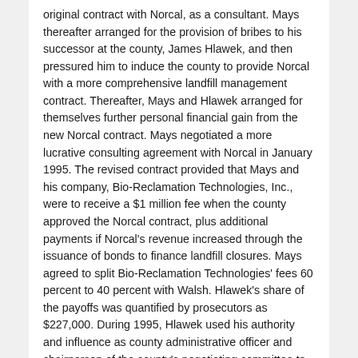original contract with Norcal, as a consultant. Mays thereafter arranged for the provision of bribes to his successor at the county, James Hlawek, and then pressured him to induce the county to provide Norcal with a more comprehensive landfill management contract. Thereafter, Mays and Hlawek arranged for themselves further personal financial gain from the new Norcal contract. Mays negotiated a more lucrative consulting agreement with Norcal in January 1995. The revised contract provided that Mays and his company, Bio-Reclamation Technologies, Inc., were to receive a $1 million fee when the county approved the Norcal contract, plus additional payments if Norcal's revenue increased through the issuance of bonds to finance landfill closures. Mays agreed to split Bio-Reclamation Technologies' fees 60 percent to 40 percent with Walsh. Hlawek's share of the payoffs was quantified by prosecutors as $227,000. During 1995, Hlawek used his authority and influence as county administrative officer and chairperson of the county's negotiating committee to obtain county approval of the Norcal contract. Among other things, Hlawek